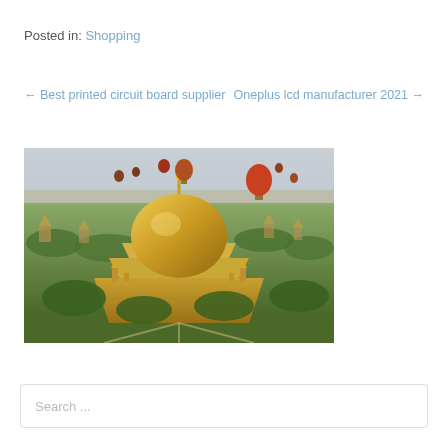Posted in: Shopping
← Best printed circuit board supplier    Oneplus lcd manufacturer 2021 →
[Figure (photo): Aerial view of ancient Buddhist temple complex in Bagan, Myanmar, with a large golden stupa dome surrounded by smaller temples, lush green trees, and hot air balloons floating in the hazy sky above.]
Search ...